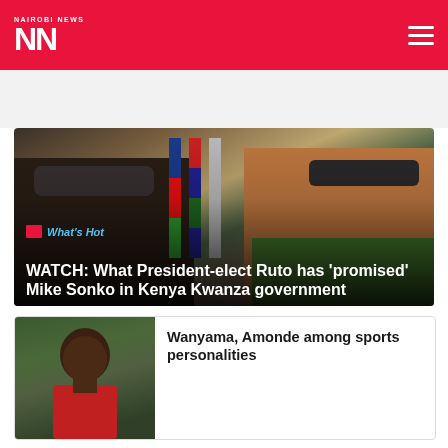NAIROBI NEWS
[Figure (photo): Two men wearing Kenya Kwanza caps, smiling, with flags in background]
What's Hot
WATCH: What President-elect Ruto has ‘promised’ Mike Sonko in Kenya Kwanza government
[Figure (photo): Sports personality headshot in red jersey, outdoor field background]
Wanyama, Amonde among sports personalities